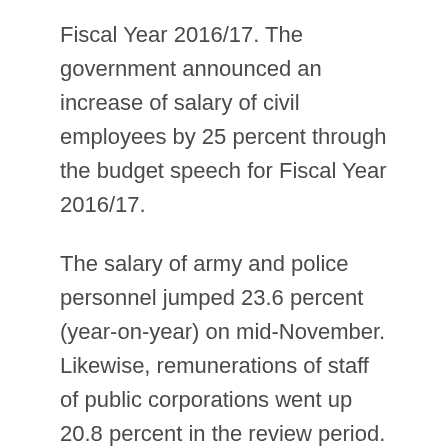Fiscal Year 2016/17. The government announced an increase of salary of civil employees by 25 percent through the budget speech for Fiscal Year 2016/17.
The salary of army and police personnel jumped 23.6 percent (year-on-year) on mid-November. Likewise, remunerations of staff of public corporations went up 20.8 percent in the review period.
The salary index of the education sector also climbed 20.7 percent while there was an increment of 3.4 percent in the salary of employees of bank and financial